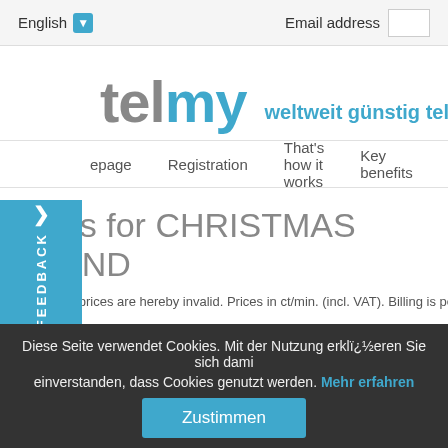English  |  Email address
[Figure (logo): Telmy logo with globe icon and tagline 'weltweit günstig telefonieren']
Homepage  Registration  That's how it works  Key benefits
Rates for CHRISTMAS ISLAND
All previous prices are hereby invalid. Prices in ct/min. (incl. VAT). Billing is per...
Diese Seite verwendet Cookies. Mit der Nutzung erkläören Sie sich damit einverstanden, dass Cookies genutzt werden. Mehr erfahren
Zustimmen